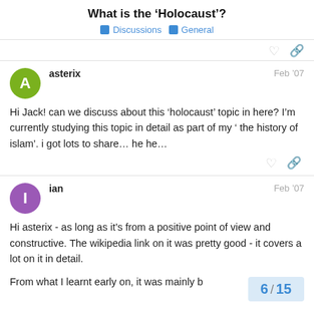What is the ‘Holocaust’?
Discussions   General
asterix   Feb ’07
Hi Jack! can we discuss about this ‘holocaust’ topic in here? I’m currently studying this topic in detail as part of my ‘ the history of islam’. i got lots to share… he he…
ian   Feb ’07
Hi asterix - as long as it’s from a positive point of view and constructive. The wikipedia link on it was pretty good - it covers a lot on it in detail.

From what I learnt early on, it was mainly b
6 / 15